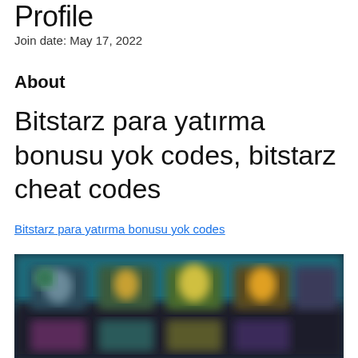Profile
Join date: May 17, 2022
About
Bitstarz para yatırma bonusu yok codes, bitstarz cheat codes
Bitstarz para yatırma bonusu yok codes
[Figure (screenshot): Blurred screenshot of a gaming website with colorful game thumbnails on a dark background]